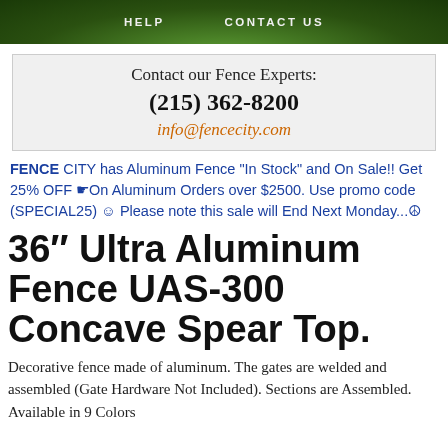HELP   CONTACT US
Contact our Fence Experts:
(215) 362-8200
info@fencecity.com
FENCE CITY has Aluminum Fence "In Stock" and On Sale!! Get 25% OFF ☛On Aluminum Orders over $2500. Use promo code (SPECIAL25) ☺ Please note this sale will End Next Monday...☮
36″ Ultra Aluminum Fence UAS-300 Concave Spear Top.
Decorative fence made of aluminum. The gates are welded and assembled (Gate Hardware Not Included). Sections are Assembled. Available in 9 Colors